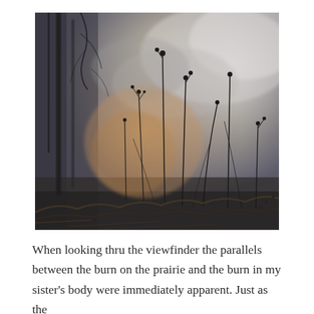[Figure (photo): A moody, atmospheric photograph of bare winter wildflower stalks with small seed heads silhouetted against a hazy, smoky sky. The background is a blend of grey clouds and warm amber tones suggesting fire or fog. Dark tree trunks are visible on the left. The foreground shows dried grasses and tangled stems, evoking a prairie burn scene.]
When looking thru the viewfinder the parallels between the burn on the prairie and the burn in my sister's body were immediately apparent. Just as the